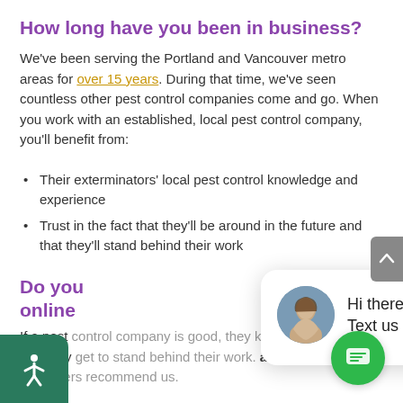How long have you been in business?
We've been serving the Portland and Vancouver metro areas for over 15 years. During that time, we've seen countless other pest control companies come and go. When you work with an established, local pest control company, you'll benefit from:
Their exterminators' local pest control knowledge and experience
Trust in the fact that they'll be around in the future and that they'll stand behind their work
Do you have any testimonials or online...
If a pest... that they... a major... you:
Our A+ rating from the Better Business Bureau
Superior Service Awards from Angie's List that we've won for 10 straight years (ever since they began serving the Portland area)
Over 800 reviews on Angie's List, as well as 5-star...
[Figure (screenshot): Chat popup overlay with avatar photo and text 'Hi there, have a question? Text us here.' with a close button.]